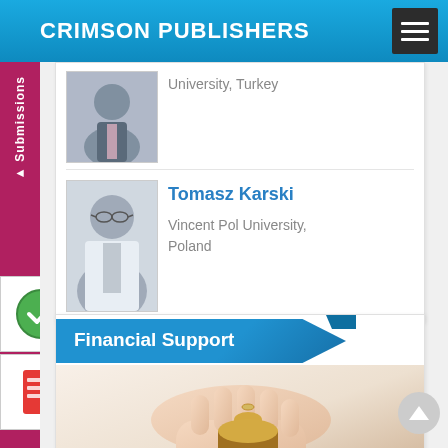CRIMSON PUBLISHERS
University, Turkey
Tomasz Karski
Vincent Pol University, Poland
Financial Support
[Figure (photo): Hand placing a coin into a stack, financial support concept image]
[Figure (photo): Portrait photo of person, upper card, partial view showing University Turkey affiliation]
[Figure (photo): Portrait photo of Tomasz Karski in white coat]